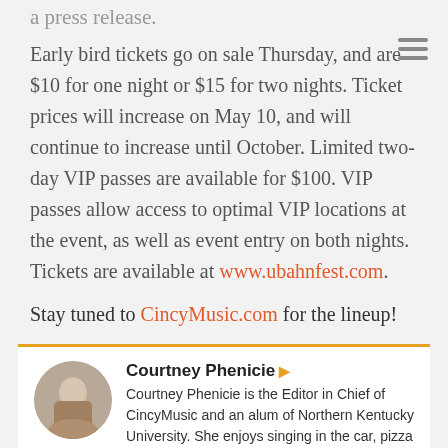a press release.
Early bird tickets go on sale Thursday, and are $10 for one night or $15 for two nights. Ticket prices will increase on May 10, and will continue to increase until October. Limited two-day VIP passes are available for $100. VIP passes allow access to optimal VIP locations at the event, as well as event entry on both nights. Tickets are available at www.ubahnfest.com.
Stay tuned to CincyMusic.com for the lineup!
Courtney Phenicie
Courtney Phenicie is the Editor in Chief of CincyMusic and an alum of Northern Kentucky University. She enjoys singing in the car, pizza rolls, red wine, and The Golden Girls. If you can't find her roaming around the city with her daughter, Josephine, check The Southgate House